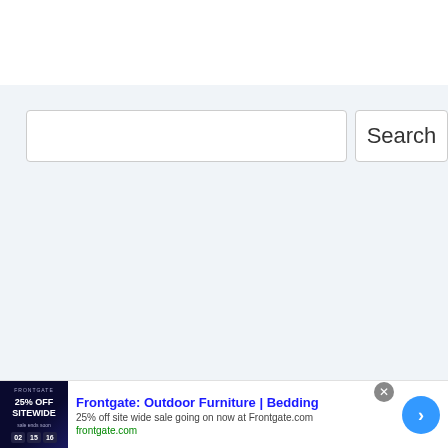[Figure (screenshot): Search interface with a text input box and a Search button on a light blue-grey background]
[Figure (screenshot): Advertisement banner for Frontgate: Outdoor Furniture | Bedding with 25% off sitewide sale, showing frontgate.com URL, a promotional thumbnail image, a close button, and a blue arrow navigation button]